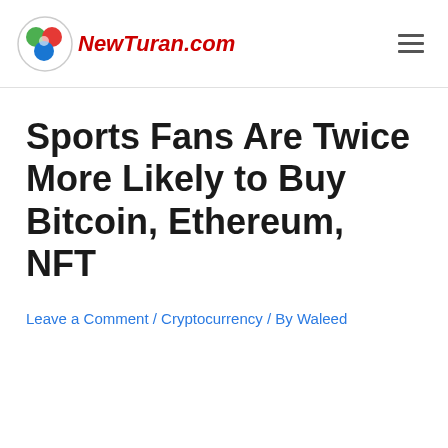NewTuran.com
Sports Fans Are Twice More Likely to Buy Bitcoin, Ethereum, NFT
Leave a Comment / Cryptocurrency / By Waleed